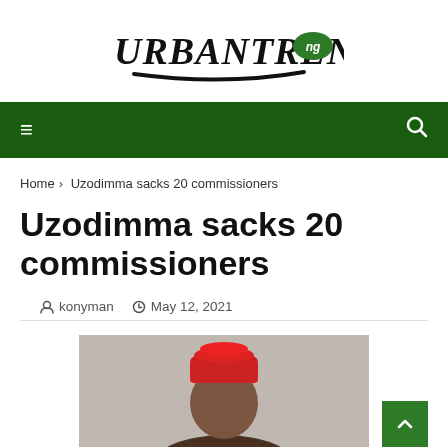URBANTRENDS.ng
Navigation bar with hamburger menu and search icon
Home > Uzodimma sacks 20 commissioners
Uzodimma sacks 20 commissioners
konyman  May 12, 2021
[Figure (photo): Photo of a person wearing a red traditional cap, partially visible from the shoulders up]